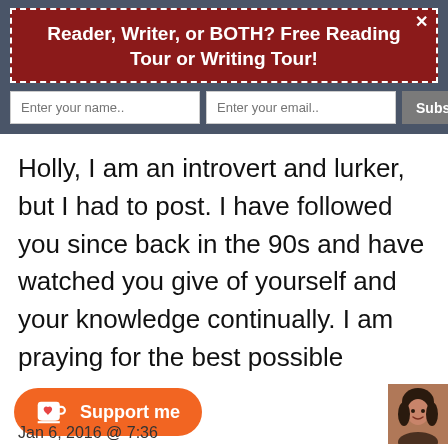Reader, Writer, or BOTH? Free Reading Tour or Writing Tour!
Holly, I am an introvert and lurker, but I had to post. I have followed you since back in the 90s and have watched you give of yourself and your knowledge continually. I am praying for the best possible outcome for you. Hugs and prayers.
reply   link
Jan 6, 2016 @ 7:36